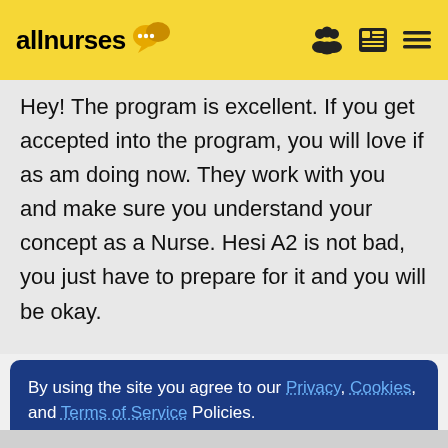allnurses
Hey! The program is excellent. If you get accepted into the program, you will love if as am doing now. They work with you and make sure you understand your concept as a Nurse. Hesi A2 is not bad, you just have to prepare for it and you will be okay.
By using the site you agree to our Privacy, Cookies, and Terms of Service Policies.
OK